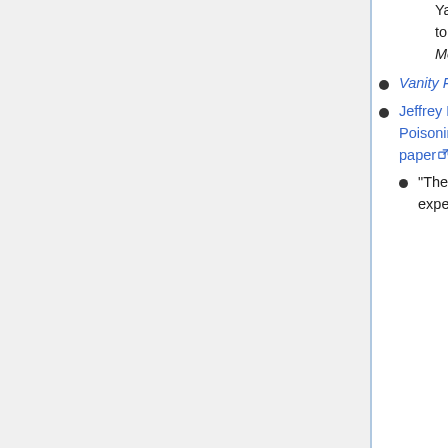Yale University School of Medicine, New Haven, Connecticut 06510"; on p.301 is a citation to a chapter co-written by "Urbanetti JS" in a previous 1997 edition of this textbook titled Medical Aspects of Chemical and Biological Warfare
Vanity Fair, "The Message in the Anthrax" by Don Foster, 2003/10 [external link]
Jeffrey M. Bale, "South Africa's Project Coast: "Death Squads," Covert State-Sponsored Poisonings, and the Dangers of CBW Proliferation", 2006 [external link] (Taylor & Francis Online page for the paper [external link])
"There is also some evidence indicating that Stephen J. Hatfill, an American biological warfare expert whom the FBI designated